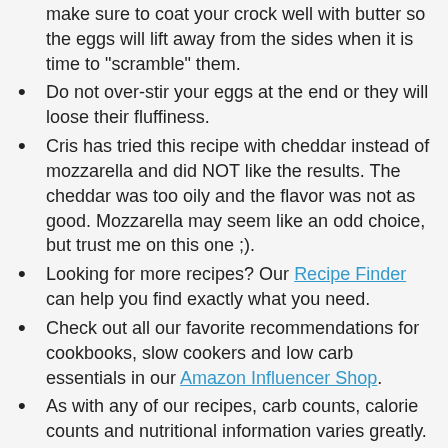make sure to coat your crock well with butter so the eggs will lift away from the sides when it is time to "scramble" them.
Do not over-stir your eggs at the end or they will loose their fluffiness.
Cris has tried this recipe with cheddar instead of mozzarella and did NOT like the results. The cheddar was too oily and the flavor was not as good. Mozzarella may seem like an odd choice, but trust me on this one ;).
Looking for more recipes? Our Recipe Finder can help you find exactly what you need.
Check out all our favorite recommendations for cookbooks, slow cookers and low carb essentials in our Amazon Influencer Shop.
As with any of our recipes, carb counts, calorie counts and nutritional information varies greatly. As a result, your nutritional content depends on which products you choose to use when cooking this dish. The auto-calculation is just an automated estimate and should NOT be used for specific dietary needs.
All slow cookers cook differently, so cooking times are always a basic guideline. Recipes should always be tested first in